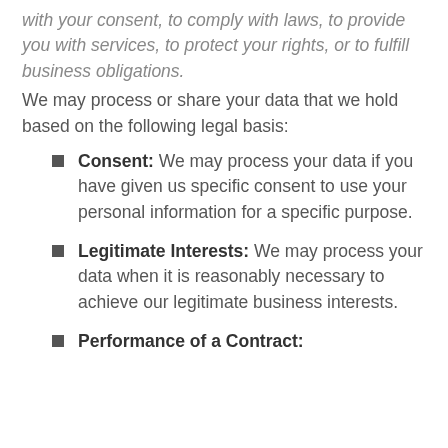with your consent, to comply with laws, to provide you with services, to protect your rights, or to fulfill business obligations.
We may process or share your data that we hold based on the following legal basis:
Consent: We may process your data if you have given us specific consent to use your personal information for a specific purpose.
Legitimate Interests: We may process your data when it is reasonably necessary to achieve our legitimate business interests.
Performance of a Contract: